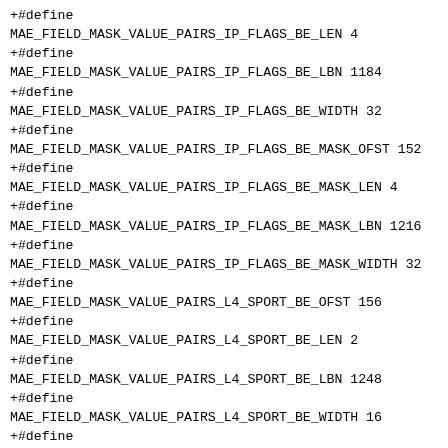+#define MAE_FIELD_MASK_VALUE_PAIRS_IP_FLAGS_BE_LEN 4
+#define MAE_FIELD_MASK_VALUE_PAIRS_IP_FLAGS_BE_LBN 1184
+#define MAE_FIELD_MASK_VALUE_PAIRS_IP_FLAGS_BE_WIDTH 32
+#define MAE_FIELD_MASK_VALUE_PAIRS_IP_FLAGS_BE_MASK_OFST 152
+#define MAE_FIELD_MASK_VALUE_PAIRS_IP_FLAGS_BE_MASK_LEN 4
+#define MAE_FIELD_MASK_VALUE_PAIRS_IP_FLAGS_BE_MASK_LBN 1216
+#define MAE_FIELD_MASK_VALUE_PAIRS_IP_FLAGS_BE_MASK_WIDTH 32
+#define MAE_FIELD_MASK_VALUE_PAIRS_L4_SPORT_BE_OFST 156
+#define MAE_FIELD_MASK_VALUE_PAIRS_L4_SPORT_BE_LEN 2
+#define MAE_FIELD_MASK_VALUE_PAIRS_L4_SPORT_BE_LBN 1248
+#define MAE_FIELD_MASK_VALUE_PAIRS_L4_SPORT_BE_WIDTH 16
+#define MAE_FIELD_MASK_VALUE_PAIRS_L4_SPORT_BE_MASK_OFST 158
+#define MAE_FIELD_MASK_VALUE_PAIRS_L4_SPORT_BE_MASK_LEN 2
+#define MAE_FIELD_MASK_VALUE_PAIRS_L4_SPORT_BE_MASK_LBN 1264
+#define MAE_FIELD_MASK_VALUE_PAIRS_L4_SPORT_BE_MASK_WIDTH 16